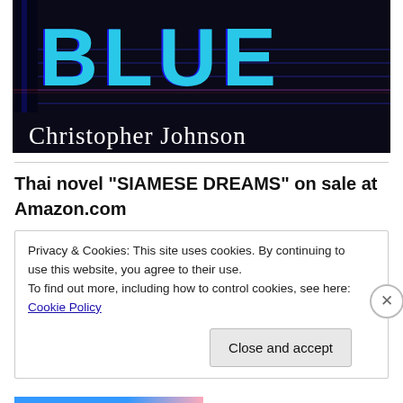[Figure (illustration): Book cover showing the word BLUE in large cyan letters with author name Christopher Johnson in white text on a dark background with diagonal stripe elements]
Thai novel “SIAMESE DREAMS” on sale at Amazon.com
Privacy & Cookies: This site uses cookies. By continuing to use this website, you agree to their use.
To find out more, including how to control cookies, see here: Cookie Policy
Close and accept